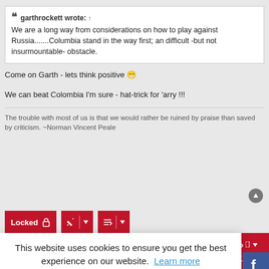garthrockett wrote: ↑ We are a long way from considerations on how to play against Russia.......Columbia stand in the way first; an difficult -but not insurmountable- obstacle.
Come on Garth - lets think positive 😀
We can beat Colombia I'm sure - hat-trick for 'arry !!!
The trouble with most of us is that we would rather be ruined by praise than saved by criticism. ~Norman Vincent Peale
[Figure (screenshot): Toolbar with Locked button and tool icons on dark red background]
This website uses cookies to ensure you get the best experience on our website. Learn more
Got it!